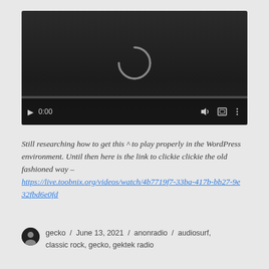[Figure (screenshot): A video player showing a loading spinner (arc/C shape) on a dark background, with playback controls at the bottom: play button, 0:00 timestamp, volume icon, fullscreen icon, and more options icon, with a progress bar.]
Still researching how to get this ^ to play properly in the WordPress environment. Until then here is the link to clickie clickie the old fashioned way – https://live.toobnix.org/videos/watch/4b7719f7-33ba-417b-bb27-9e32fbd6e0fd
gecko / June 13, 2021 / anonradio / audiosurf, classic rock, gecko, gektek radio